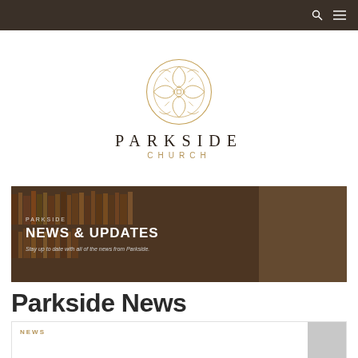Navigation bar with search and menu icons
[Figure (logo): Parkside Church decorative circular logo with geometric floral pattern in gold/tan, above text PARKSIDE CHURCH]
[Figure (photo): Banner image with blurred library bookshelves background, dark overlay, text: PARKSIDE NEWS & UPDATES — Stay up to date with all of the news from Parkside.]
Parkside News
NEWS